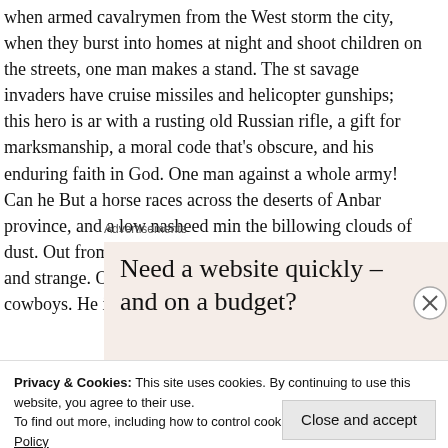when armed cavalrymen from the West storm the city, when they burst into homes at night and shoot children on the streets, one man makes a stand. The savage invaders have cruise missiles and helicopter gunships; this hero is armed with a rusting old Russian rifle, a gift for marksmanship, a moral code that's obscure, and his enduring faith in God. One man against a whole army! Can he? But a horse races across the deserts of Anbar province, and a low nasheed mingles the billowing clouds of dust. Out from the freedom of the open range rides something cruel and strange. Our last best hope. He is the last of the cowboys. He is the American sniper.
Advertisements
[Figure (other): Advertisement box with beige background reading: Need a website quickly – and on a budget? Let us build it for you]
Privacy & Cookies: This site uses cookies. By continuing to use this website, you agree to their use.
To find out more, including how to control cookies, see here: Cookie Policy
Close and accept